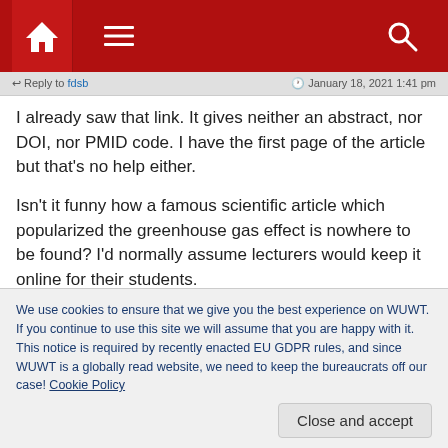Navigation bar with home icon, menu icon, and search icon
↩ Reply to fdsb    🕐 January 18, 2021 1:41 pm
I already saw that link. It gives neither an abstract, nor DOI, nor PMID code. I have the first page of the article but that's no help either.

Isn't it funny how a famous scientific article which popularized the greenhouse gas effect is nowhere to be found? I'd normally assume lecturers would keep it online for their students.

Also amusing that Sci Am haven't bothered to classify their historic...
We use cookies to ensure that we give you the best experience on WUWT. If you continue to use this site we will assume that you are happy with it. This notice is required by recently enacted EU GDPR rules, and since WUWT is a globally read website, we need to keep the bureaucrats off our case! Cookie Policy
Close and accept
🕐 January 18, 2021 7:14 am